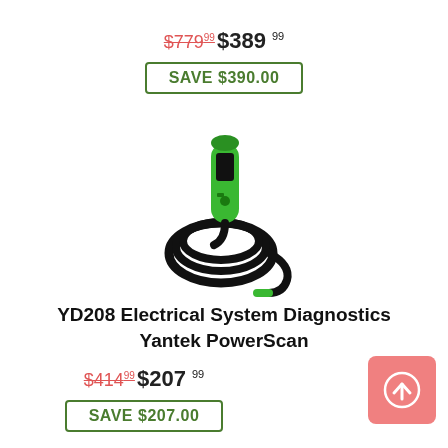$779.99 $389.99
SAVE $390.00
[Figure (photo): YD208 Electrical System Diagnostics Yantek PowerScan tool — a green handheld probe/tester with a long coiled black cable]
YD208 Electrical System Diagnostics Yantek PowerScan
$414.99 $207.99
SAVE $207.00